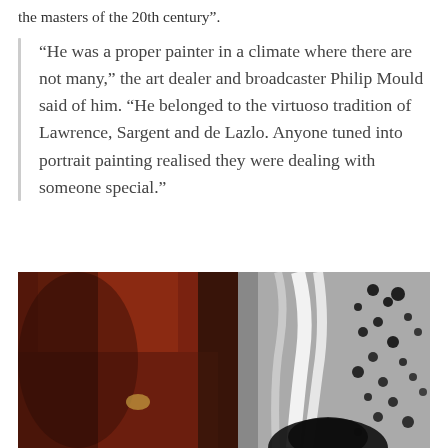the masters of the 20th century”.
“He was a proper painter in a climate where there are not many,” the art dealer and broadcaster Philip Mould said of him. “He belonged to the virtuoso tradition of Lawrence, Sargent and de Lazlo. Anyone tuned into portrait painting realised they were dealing with someone special.”
[Figure (photo): Close-up photograph of a painting with dark reddish-brown tones on the left and black and white dramatic brushstrokes on the right, suggesting a portrait or figure study.]